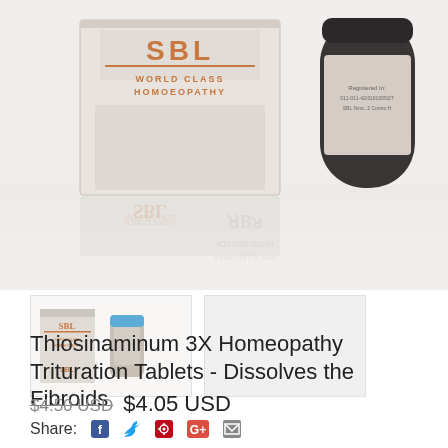[Figure (photo): SBL World Class Homoeopathy product box and dark glass bottle on a white reflective surface. Box shows 'SBL WORLD CLASS HOMOEOPATHY' branding in brown/orange text.]
[Figure (photo): Thumbnail 1: Small bottle of SBL homeopathy product with blue cap next to product box.]
[Figure (photo): Thumbnail 2: Light grey/blank placeholder thumbnail.]
Thiosinaminum 3X Homeopathy Trituration Tablets - Dissolves the Fibroids
$4.50 USD $4.05 USD
Share: